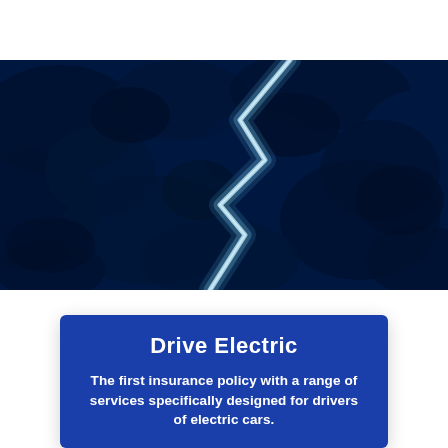[Figure (photo): Aerial dark blue night view of a winding road through trees, lit by headlights forming an S-curve, resembling a lightning bolt shape]
Drive Electric
The first insurance policy with a range of services specifically designed for drivers of electric cars.